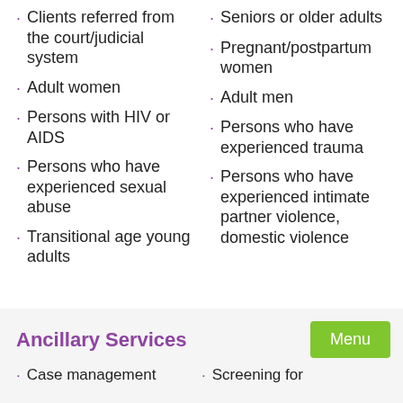Clients referred from the court/judicial system
Seniors or older adults
Pregnant/postpartum women
Adult women
Adult men
Persons with HIV or AIDS
Persons who have experienced trauma
Persons who have experienced sexual abuse
Persons who have experienced intimate partner violence, domestic violence
Transitional age young adults
Ancillary Services
Case management
Screening for